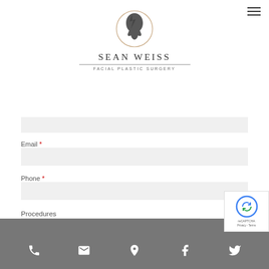[Figure (logo): Sean Weiss Facial Plastic Surgery logo — circular outline with a face silhouette, text SEAN WEISS above line, FACIAL PLASTIC SURGERY below]
Email *
Phone *
Procedures
Phone | Email | Location | Facebook | Twitter icons